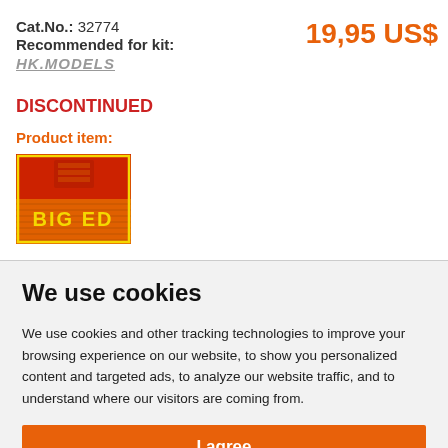Cat.No.: 32774
19,95 US$
Recommended for kit:
HK.MODELS
DISCONTINUED
Product item:
[Figure (photo): BIG ED product box art — red and orange background with 'BIG ED' text in yellow]
We use cookies
We use cookies and other tracking technologies to improve your browsing experience on our website, to show you personalized content and targeted ads, to analyze our website traffic, and to understand where our visitors are coming from.
I agree